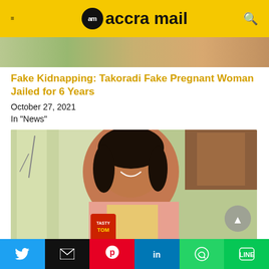accra mail
[Figure (photo): Partial top image of people, cropped at the header]
Fake Kidnapping: Takoradi Fake Pregnant Woman Jailed for 6 Years
October 27, 2021
In "News"
[Figure (photo): Woman in pink top smiling and holding a Tasty Tom tin can]
Social share buttons: Twitter, Email, Pinterest, LinkedIn, WhatsApp, Line